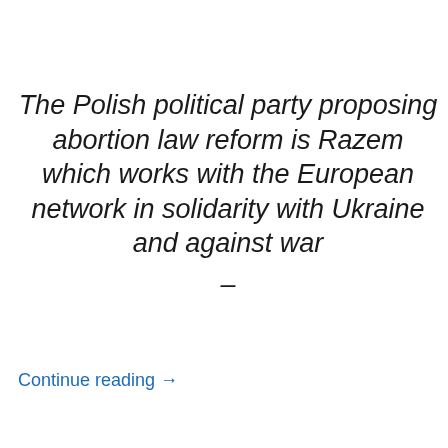The Polish political party proposing abortion law reform is Razem which works with the European network in solidarity with Ukraine and against war —
Continue reading →